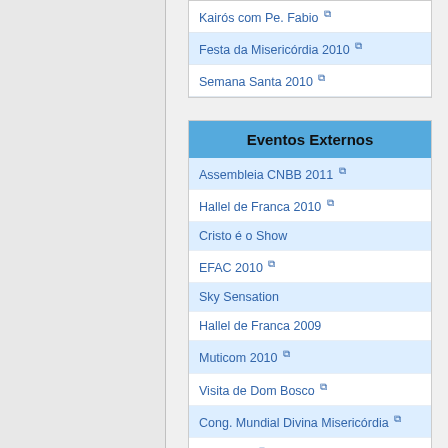Kairós com Pe. Fabio
Festa da Misericórdia 2010
Semana Santa 2010
Eventos Externos
Assembleia CNBB 2011
Hallel de Franca 2010
Cristo é o Show
EFAC 2010
Sky Sensation
Hallel de Franca 2009
Muticom 2010
Visita de Dom Bosco
Cong. Mundial Divina Misericórdia
V CELAM
Consistório